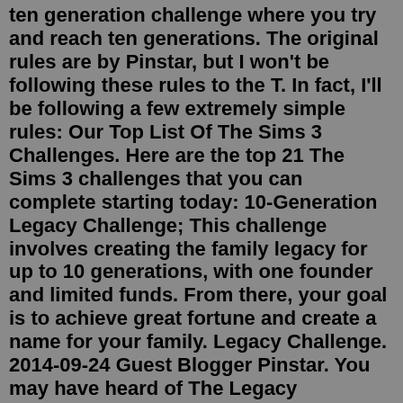ten generation challenge where you try and reach ten generations. The original rules are by Pinstar, but I won't be following these rules to the T. In fact, I'll be following a few extremely simple rules: Our Top List Of The Sims 3 Challenges. Here are the top 21 The Sims 3 challenges that you can complete starting today: 10-Generation Legacy Challenge; This challenge involves creating the family legacy for up to 10 generations, with one founder and limited funds. From there, your goal is to achieve great fortune and create a name for your family. Legacy Challenge. 2014-09-24 Guest Blogger Pinstar. You may have heard of The Legacy Challenge, a self-imposed set of rules and goals that challenges you to approach The Sims from a very different play style. You start the game with a single young adult Sim, move them into a gigantic and completely empty lot and strip them of most of their ...i'm going back to my rootsI'm live every night at 4pm EST! Don't miss my next stream! https://www.twitch.tv/lilsimsieI post daily Sims content on my main You... I tried doing a legacy